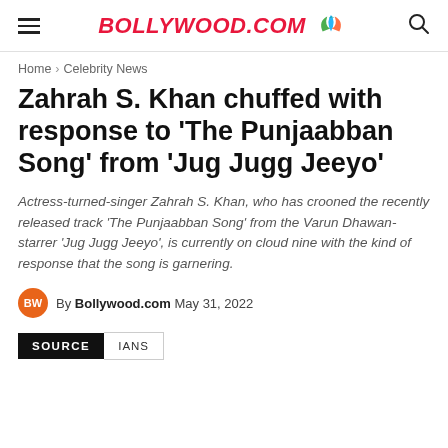BOLLYWOOD.COM
Home › Celebrity News
Zahrah S. Khan chuffed with response to 'The Punjaabban Song' from 'Jug Jugg Jeeyo'
Actress-turned-singer Zahrah S. Khan, who has crooned the recently released track 'The Punjaabban Song' from the Varun Dhawan-starrer 'Jug Jugg Jeeyo', is currently on cloud nine with the kind of response that the song is garnering.
By Bollywood.com May 31, 2022
SOURCE   IANS